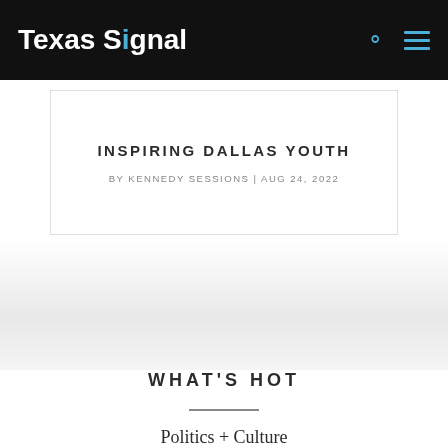Texas Signal
INSPIRING DALLAS YOUTH
BY KENNEDY SESSIONS | AUG 24, 2022
WHAT'S HOT
Politics + Culture